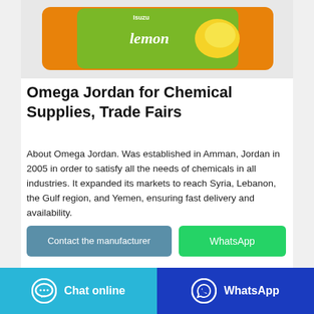[Figure (photo): Product photo of a lemon-flavored candy/snack bar with green and orange wrapper]
Omega Jordan for Chemical Supplies, Trade Fairs
About Omega Jordan. Was established in Amman, Jordan in 2005 in order to satisfy all the needs of chemicals in all industries. It expanded its markets to reach Syria, Lebanon, the Gulf region, and Yemen, ensuring fast delivery and availability.
Contact the manufacturer
WhatsApp
Chat online
WhatsApp